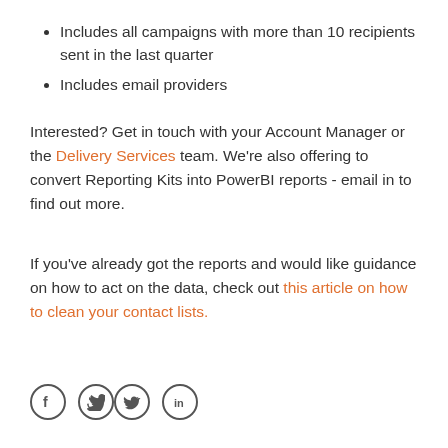Includes all campaigns with more than 10 recipients sent in the last quarter
Includes email providers
Interested? Get in touch with your Account Manager or the Delivery Services team. We're also offering to convert Reporting Kits into PowerBI reports - email in to find out more.
If you've already got the reports and would like guidance on how to act on the data, check out this article on how to clean your contact lists.
[Figure (other): Social media icons: Facebook, Twitter, LinkedIn in circle outlines]